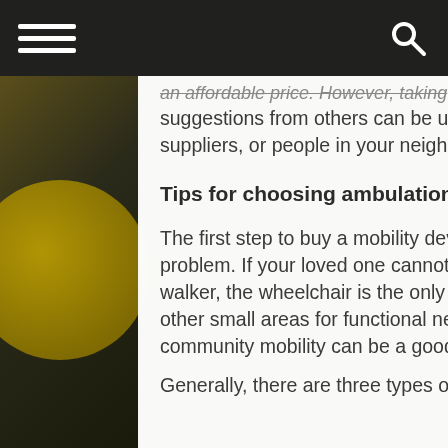an affordable price. However, taking suggestions from others can be useful. You can talk to your therapist, rehab technology suppliers, or people in your neighborhood for an idea.
Tips for choosing ambulation aids
The first step to buy a mobility device begins with considering the actual area of the problem. If your loved one cannot roam around even with assistive aids like a cane or a walker, the wheelchair is the only option. If the person can move around in the home or other small areas for functional needs, then buying something that helps them with community mobility can be a good idea.
Generally, there are three types of mobility products that come with wheels, manual